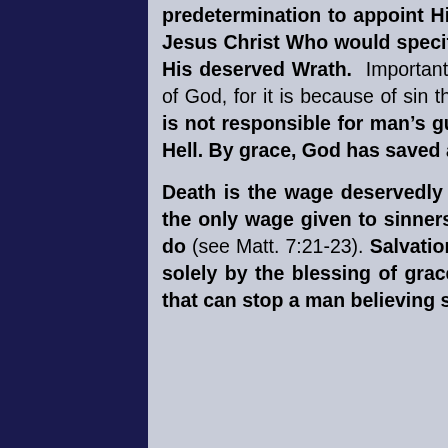predetermination to appoint His chosen ones to obtain salvation by the Lord Jesus Christ Who would specifically die for them, and to appoint all others to His deserved Wrath. Importantly, man's being appointed to Wrath is not the fault of God, for it is because of sin that every man is born a child of God's Wrath. God is not responsible for man's guilt. Everyone in Adam is rightly condemned to Hell. By grace, God has saved a remnant for Himself.
Death is the wage deservedly given to sinners for their sin. Eternal death is the only wage given to sinners who try to get to Heaven based on what they do (see Matt. 7:21-23). Salvation is only by the gift of grace alone. Salvation is solely by the blessing of grace at work in the soul of man. There is nothing that can stop a man believing salvation is by Sovereign grace alone, who has